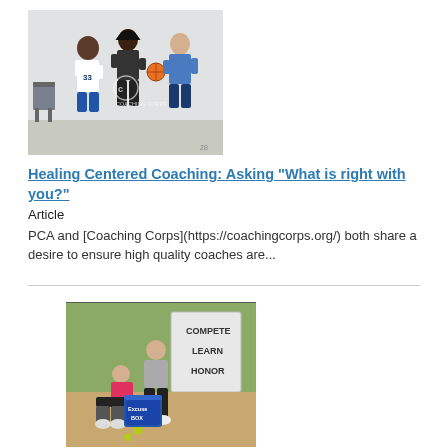[Figure (photo): Three basketball players in a gym, one wearing jersey number 33, with a Coaching Corps watermark]
Healing Centered Coaching: Asking "What is right with you?"
Article
PCA and [Coaching Corps](https://coachingcorps.org/) both share a desire to ensure high quality coaches are...
[Figure (photo): Two young athletes at a tennis court near a sign reading COMPETE LEARN HONOR and an Excuse Box cooler]
Using The 'Excuse Box' To Reduce Excuse-Making
Article